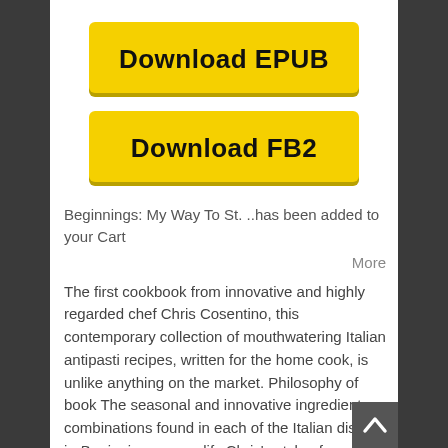[Figure (other): Yellow Download EPUB button]
[Figure (other): Yellow Download FB2 button]
Beginnings: My Way To St. ..has been added to your Cart
More
The first cookbook from innovative and highly regarded chef Chris Cosentino, this contemporary collection of mouthwatering Italian antipasti recipes, written for the home cook, is unlike anything on the market. Philosophy of book The seasonal and innovative ingredient combinations found in each of the Italian dishes in Beginnings exemplify Chris's style of cooking made popular at his highly regarded restaurant